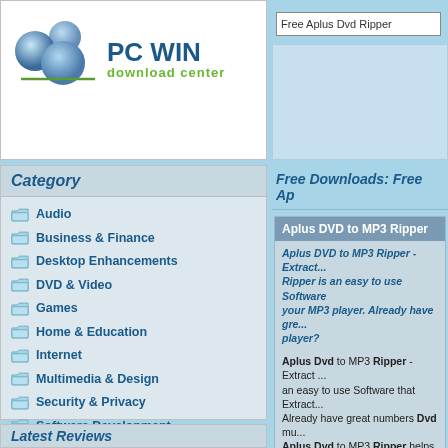[Figure (logo): PC WIN Download Center logo with blue spheres]
Free Aplus Dvd Ripper
Category
Free Downloads: Free Ap...
Audio
Business & Finance
Desktop Enhancements
DVD & Video
Games
Home & Education
Internet
Multimedia & Design
Security & Privacy
Software Development
Utilities
Web Authoring
Aplus DVD to MP3 Ripper
Aplus DVD to MP3 Ripper - Extract... Ripper is an easy to use Software... your MP3 player. Already have gre... player?
Aplus Dvd to MP3 Ripper - Extract... an easy to use Software that Extract... Already have great numbers Dvd mu... Aplus Dvd to MP3 Ripper helps you...
Category: DVD & Video / Video Convers... Publisher: Aplus Software Inc., License:... Platform: Windows
Latest Reviews